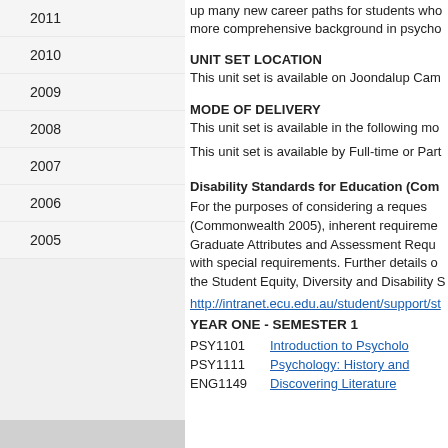2011
2010
2009
2008
2007
2006
2005
up many new career paths for students who more comprehensive background in psycho
UNIT SET LOCATION
This unit set is available on Joondalup Cam
MODE OF DELIVERY
This unit set is available in the following mo
This unit set is available by Full-time or Part-
Disability Standards for Education (Com
For the purposes of considering a reques (Commonwealth 2005), inherent requireme Graduate Attributes and Assessment Requ with special requirements. Further details o the Student Equity, Diversity and Disability S
http://intranet.ecu.edu.au/student/support/st
YEAR ONE - SEMESTER 1
PSY1101 Introduction to Psycholo
PSY1111 Psychology: History and
ENG1149 Discovering Literature